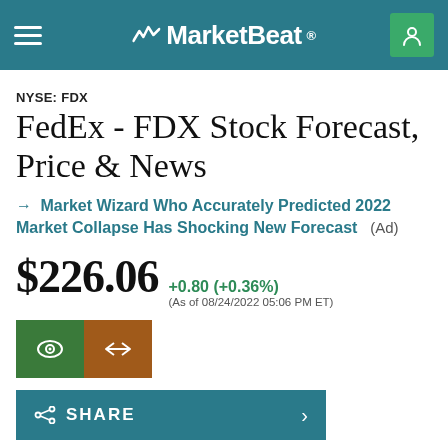MarketBeat
NYSE: FDX
FedEx - FDX Stock Forecast, Price & News
→ Market Wizard Who Accurately Predicted 2022 Market Collapse Has Shocking New Forecast (Ad)
$226.06 +0.80 (+0.36%) (As of 08/24/2022 05:06 PM ET)
Today's Range $222.90 $227.41